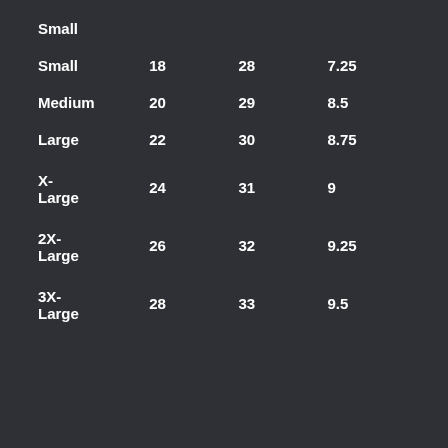| Size | Col2 | Col3 | Col4 |
| --- | --- | --- | --- |
| Small |  |  |  |
| Small | 18 | 28 | 7.25 |
| Medium | 20 | 29 | 8.5 |
| Large | 22 | 30 | 8.75 |
| X-Large | 24 | 31 | 9 |
| 2X-Large | 26 | 32 | 9.25 |
| 3X-Large | 28 | 33 | 9.5 |